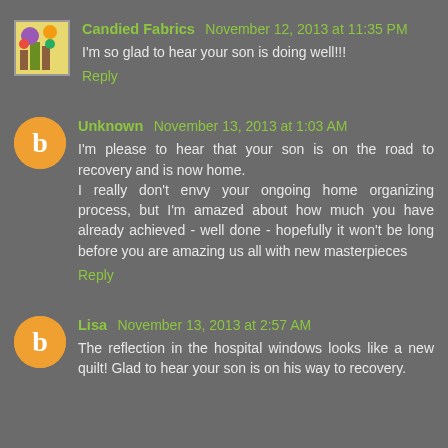Candied Fabrics November 12, 2013 at 11:35 PM
I'm so glad to hear your son is doing well!!!
Reply
Unknown November 13, 2013 at 1:03 AM
I'm please to hear that your son is on the road to recovery and is now home. I really don't envy your ongoing home organizing process, but I'm amazed about how much you have already achieved - well done - hopefully it won't be long before you are amazing us all with new masterpieces
Reply
Lisa November 13, 2013 at 2:57 AM
The reflection in the hospital windows looks like a new quilt! Glad to hear your son is on his way to recovery.